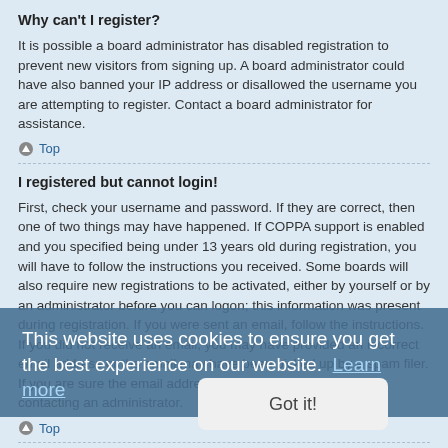Why can't I register?
It is possible a board administrator has disabled registration to prevent new visitors from signing up. A board administrator could have also banned your IP address or disallowed the username you are attempting to register. Contact a board administrator for assistance.
Top
I registered but cannot login!
First, check your username and password. If they are correct, then one of two things may have happened. If COPPA support is enabled and you specified being under 13 years old during registration, you will have to follow the instructions you received. Some boards will also require new registrations to be activated, either by yourself or by an administrator before you can logon; this information was present during registration. If you were sent an email, follow the instructions. If you did not receive an email, you may have provided an incorrect email address or the email may have been picked up by a spam filer. If you are sure the email address you provided is correct, try contacting an administrator.
Top
Why can't I login?
There are several reasons why this could occur. First, ensure your username and password are correct. If they are, contact a board administrator to make sure you haven't been banned. It is also possible
This website uses cookies to ensure you get the best experience on our website. Learn more
Got it!